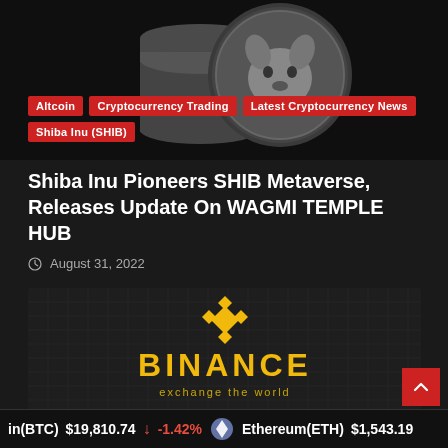[Figure (photo): Shiba Inu coin silver metallic token stacked on coins, dark background]
Altcoin
Cryptocurrency Trading
Latest Cryptocurrency News
Shiba Inu (SHIB)
Shiba Inu Pioneers SHIB Metaverse, Releases Update On WAGMI TEMPLE HUB
August 31, 2022
[Figure (logo): Binance logo with golden diamond icon and text 'BINANCE exchange the world' on dark grid background]
in(BTC)  $19,810.74  ↓  -1.42%  Ethereum(ETH)  $1,543.19